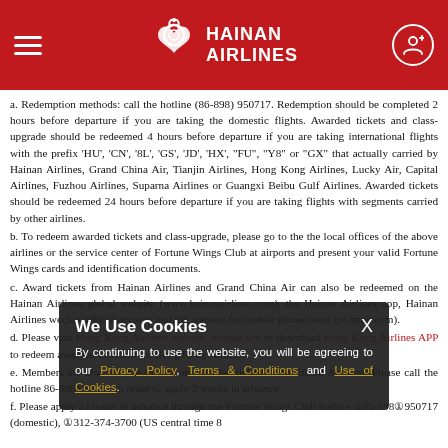Hainan Airlines – navigation header with logo
a. Redemption methods: call the hotline (86-898) 950717. Redemption should be completed 2 hours before departure if you are taking the domestic flights. Awarded tickets and class-upgrade should be redeemed 4 hours before departure if you are taking international flights with the prefix 'HU', 'CN', '8L', 'GS', 'JD', 'HX', "FU", "Y8" or "GX" that actually carried by Hainan Airlines, Grand China Air, Tianjin Airlines, Hong Kong Airlines, Lucky Air, Capital Airlines, Fuzhou Airlines, Suparna Airlines or Guangxi Beibu Gulf Airlines. Awarded tickets should be redeemed 24 hours before departure if you are taking flights with segments carried by other airlines.
b. To redeem awarded tickets and class-upgrade, please go to the the local offices of the above airlines or the service center of Fortune Wings Club at airports and present your valid Fortune Wings cards and identification documents.
c. Award tickets from Hainan Airlines and Grand China Air can also be redeemed on the Hainan Airlines global website (www.hainanairlines.com), the Hainan Airlines app, Hainan Airlines wechat official account and the website for mobile phone users (m.hnair.com).
d. Please visit Hong Kong Airlines website, mobile site or download Hong Kong Airlines APP to redeem awarded tickets from Hong Kong Airlines.
e. Members are also eligible to redeem awarded tickets from Etihad Airways. Please call the hotline 86-898 950717 in order to apply 2 weeks in advance.
f. Please apply 24 hours in advance through the Fortune Wings Club hotline ①86-898①950717 (domestic), ①312-374-3700 (US central time 8
Cookie notice: We Use Cookies. By continuing to use the website, you will be agreeing to our Privacy Policy, Terms & Conditions and Use of Cookies.